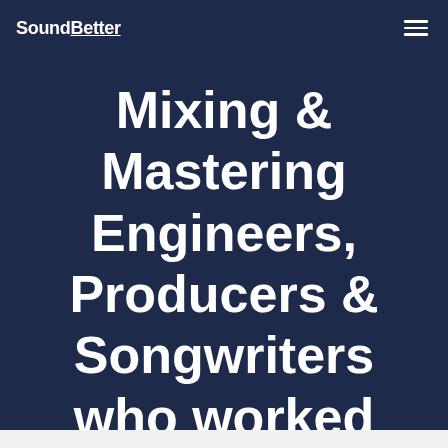SoundBetter
Mixing & Mastering Engineers, Producers & Songwriters who worked with Oliver Who